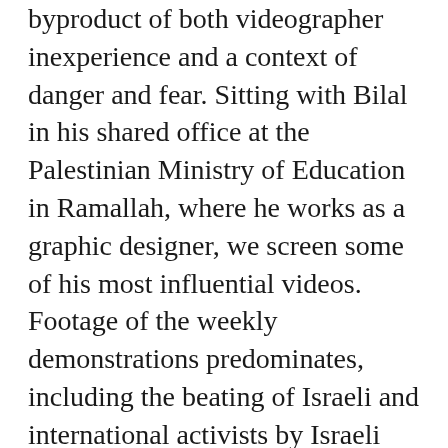byproduct of both videographer inexperience and a context of danger and fear. Sitting with Bilal in his shared office at the Palestinian Ministry of Education in Ramallah, where he works as a graphic designer, we screen some of his most influential videos. Footage of the weekly demonstrations predominates, including the beating of Israeli and international activists by Israeli security forces. Among the most widely viewed by the Israeli public was that of the raid described above that began at Bilal?s own home. It is?a disarming portrayal?of the violent intimacy that such raids occasion, in the confrontation between armed soldiers and a terrified family jolted from sleep, all within the walls of the private family home. ?Here, you see my hand is